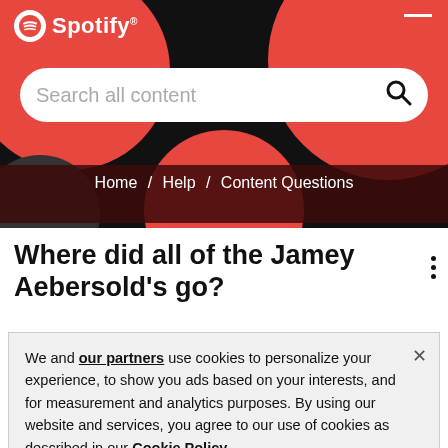[Figure (screenshot): Spotify header with black background, red circular decorations, white Spotify logo top left, hamburger menu top right, white search bar with 'Search all content' placeholder and search icon]
Home / Help / Content Questions
Where did all of the Jamey Aebersold's go?
We and our partners use cookies to personalize your experience, to show you ads based on your interests, and for measurement and analytics purposes. By using our website and services, you agree to our use of cookies as described in our Cookie Policy.